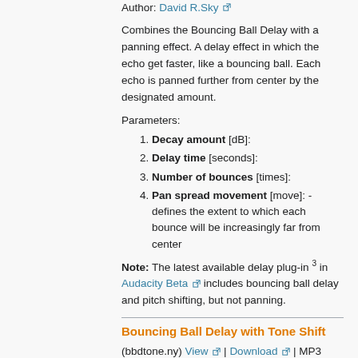Author: David R.Sky [external link]
Combines the Bouncing Ball Delay with a panning effect. A delay effect in which the echo get faster, like a bouncing ball. Each echo is panned further from center by the designated amount.
Parameters:
1. Decay amount [dB]:
2. Delay time [seconds]:
3. Number of bounces [times]:
4. Pan spread movement [move]: - defines the extent to which each bounce will be increasingly far from center
Note: The latest available delay plug-in 3 in Audacity Beta [external link] includes bouncing ball delay and pitch shifting, but not panning.
Bouncing Ball Delay with Tone Shift
(bbdtone.ny) View [external link] | Download [external link] | MP3